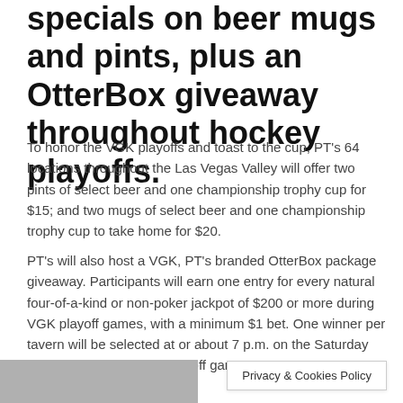specials on beer mugs and pints, plus an OtterBox giveaway throughout hockey playoffs.
To honor the VGK playoffs and toast to the cup, PT's 64 locations throughout the Las Vegas Valley will offer two pints of select beer and one championship trophy cup for $15; and two mugs of select beer and one championship trophy cup to take home for $20.
PT's will also host a VGK, PT's branded OtterBox package giveaway. Participants will earn one entry for every natural four-of-a-kind or non-poker jackpot of $200 or more during VGK playoff games, with a minimum $1 bet. One winner per tavern will be selected at or about 7 p.m. on the Saturday following the final VGK playoff game.
[Figure (photo): Partial photo strip at bottom left, cropped]
Privacy & Cookies Policy